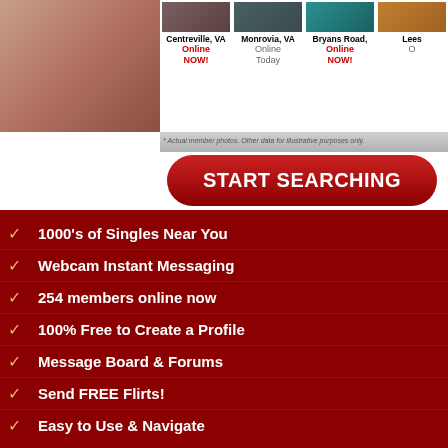[Figure (screenshot): Dating website screenshot showing profile photos from Centreville VA, Monrovia VA, Bryans Road, and Lees with Online NOW and Online Today status labels]
* Actual member photos. Other data for illustrative purposes only.
[Figure (other): Red rounded button with text START SEARCHING]
Searching is 100% safe. Check how many trannys live in Maine.
1000's of Singles Near You
Webcam Instant Messaging
254 members online now
100% Free to Create a Profile
Message Board & Forums
Send FREE Flirts!
Easy to Use & Navigate